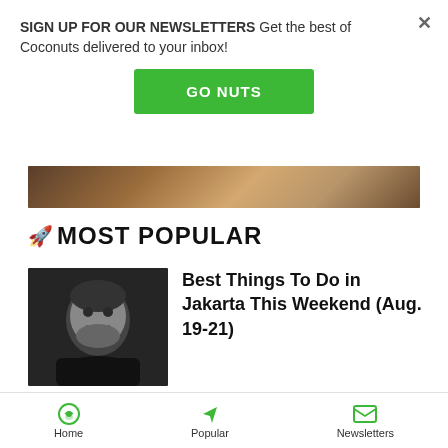SIGN UP FOR OUR NEWSLETTERS Get the best of Coconuts delivered to your inbox!
GO NUTS
[Figure (photo): Dark brownish-orange background image strip]
🚀 MOST POPULAR
[Figure (photo): Black and white photo of a smiling man]
Best Things To Do in Jakarta This Weekend (Aug. 19-21)
[Figure (photo): Three small thumbnails of Indonesian currency notes]
Take note: Indonesia issues
Home  Popular  Newsletters